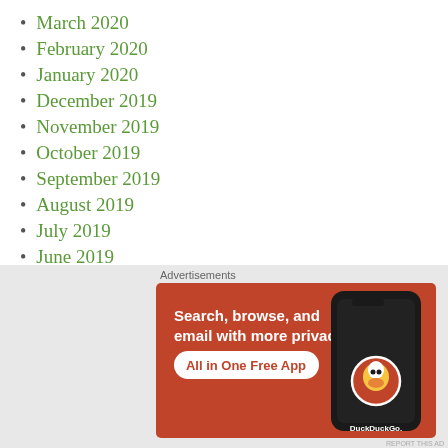March 2020
February 2020
January 2020
December 2019
November 2019
October 2019
September 2019
August 2019
July 2019
June 2019
May 2019
[Figure (screenshot): DuckDuckGo advertisement banner with orange background. Text reads 'Search, browse, and email with more privacy. All in One Free App'. Shows a smartphone with DuckDuckGo logo.]